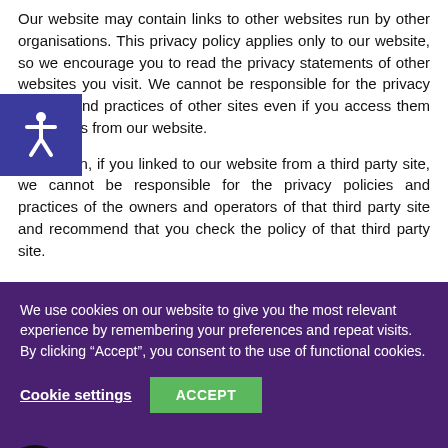Our website may contain links to other websites run by other organisations. This privacy policy applies only to our website, so we encourage you to read the privacy statements of other websites you visit. We cannot be responsible for the privacy policies and practices of other sites even if you access them using links from our website.
In addition, if you linked to our website from a third party site, we cannot be responsible for the privacy policies and practices of the owners and operators of that third party site and recommend that you check the policy of that third party site.
We use cookies on our website to give you the most relevant experience by remembering your preferences and repeat visits. By clicking “Accept”, you consent to the use of functional cookies.
Cookie settings
ACCEPT